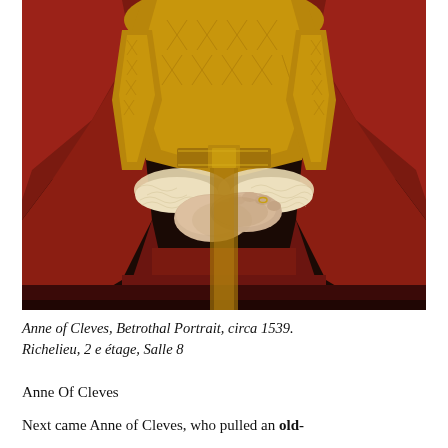[Figure (photo): A painting of Anne of Cleves showing her torso and hands clasped together, wearing an ornate red velvet dress with gold brocade trim and lace cuffs, a jeweled necklace/brooch visible at the top. Betrothal portrait circa 1539.]
Anne of Cleves, Betrothal Portrait, circa 1539. Richelieu, 2 e étage, Salle 8
Anne Of Cleves
Next came Anne of Cleves, who pulled an old-